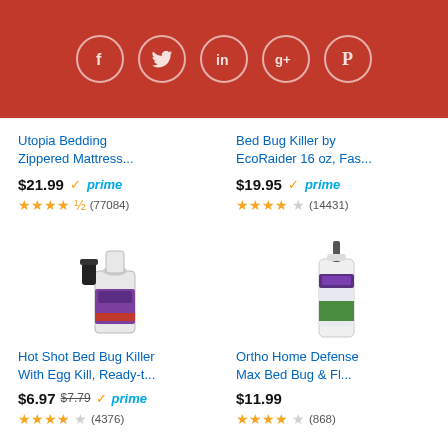[Figure (screenshot): Social media sharing icons header bar with Facebook, Twitter, LinkedIn, Google+, and Pinterest icons in circular borders on a dark red/brick background]
Utopia Bedding Zippered Mattress...
$21.99 prime
★★★★½ (77084)
Bed Bug Killer by EcoRaider 16 oz, Fas...
$19.95 prime
★★★★☆ (14431)
[Figure (photo): Hot Shot Bed Bug Killer spray bottle with purple label]
[Figure (photo): Ortho Home Defense Max Bed Bug product bottle]
Hot Shot Bed Bug Killer With Egg Kill, Ready-t...
$6.97 $7.79 prime
★★★★½ (4376)
Ortho Home Defense Max Bed Bug & Fl...
$11.99
★★★★½ (868)
Ads by Amazon